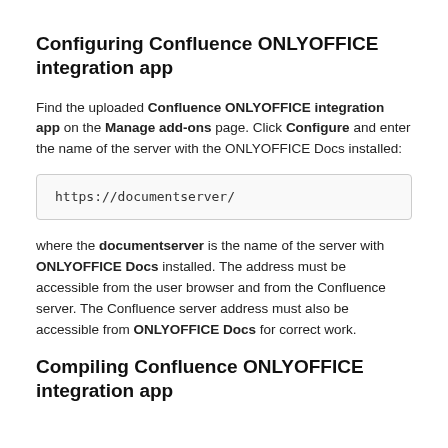Configuring Confluence ONLYOFFICE integration app
Find the uploaded Confluence ONLYOFFICE integration app on the Manage add-ons page. Click Configure and enter the name of the server with the ONLYOFFICE Docs installed:
https://documentserver/
where the documentserver is the name of the server with ONLYOFFICE Docs installed. The address must be accessible from the user browser and from the Confluence server. The Confluence server address must also be accessible from ONLYOFFICE Docs for correct work.
Compiling Confluence ONLYOFFICE integration app